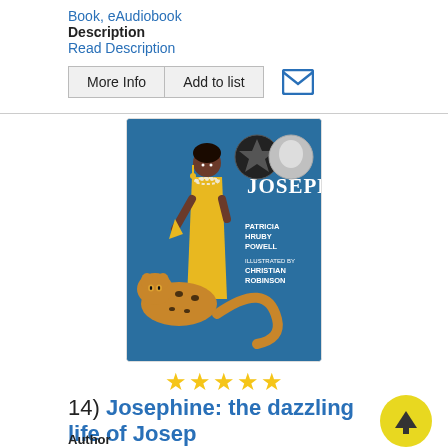Book, eAudiobook
Description
Read Description
More Info  Add to list
[Figure (illustration): Book cover for Josephine: the dazzling life of Josephine Baker. Shows an illustrated woman in a yellow dress with a cheetah, on a blue background. Includes award medal icons. Text: JOSEPHINE, Patricia Hruby Powell, illustrated by Christian Robinson.]
★★★★★
14)  Josephine: the dazzling life of Josephine Baker
Author
Powell, Patricia Hruby